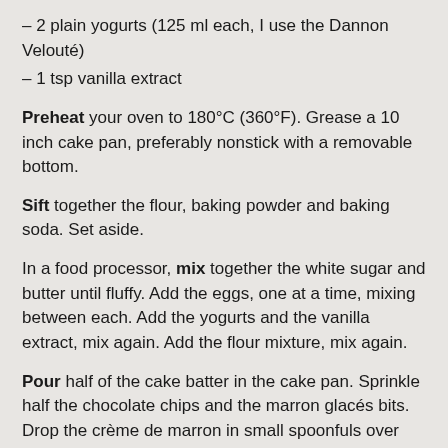– 2 plain yogurts (125 ml each, I use the Dannon Velouté)
– 1 tsp vanilla extract
Preheat your oven to 180°C (360°F). Grease a 10 inch cake pan, preferably nonstick with a removable bottom.
Sift together the flour, baking powder and baking soda. Set aside.
In a food processor, mix together the white sugar and butter until fluffy. Add the eggs, one at a time, mixing between each. Add the yogurts and the vanilla extract, mix again. Add the flour mixture, mix again.
Pour half of the cake batter in the cake pan. Sprinkle half the chocolate chips and the marron glacés bits. Drop the crème de marron in small spoonfuls over the surface. Pour the rest of the batter. Sprinkle the brown sugar and the remaining chocolate and marrons glacés over the top of the batter.